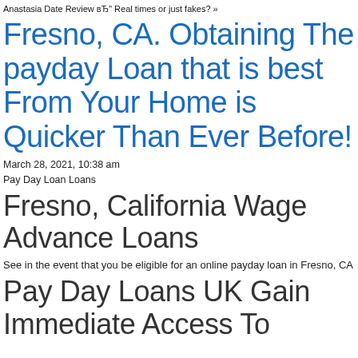Anastasia Date Review вЂ" Real times or just fakes? »
Fresno, CA. Obtaining The payday Loan that is best From Your Home is Quicker Than Ever Before!
March 28, 2021, 10:38 am
Pay Day Loan Loans
Fresno, California Wage Advance Loans
See in the event that you be eligible for an online payday loan in Fresno, CA
Pay Day Loans UK Gain Immediate Access To